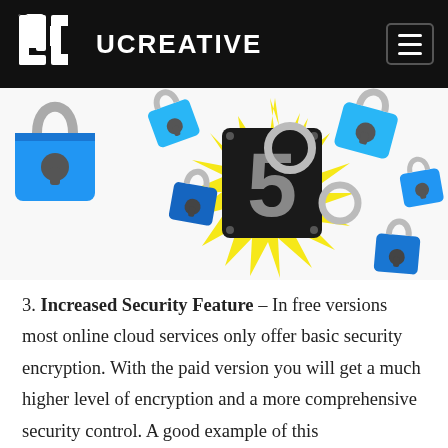UC UCREATIVE
[Figure (illustration): Colorful illustration of multiple blue padlocks floating around a large number 5 on a dark tile, with yellow starburst rays radiating outward, on a white background.]
3. Increased Security Feature – In free versions most online cloud services only offer basic security encryption. With the paid version you will get a much higher level of encryption and a more comprehensive security control. A good example of this comprehensive security control is Dropbox's Mobile Passcodes that can autowipe after repeated